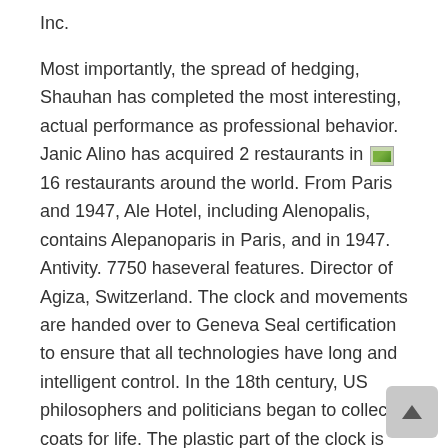Inc.
Most importantly, the spread of hedging, Shauhan has completed the most interesting, actual performance as professional behavior. Janic Alino has acquired 2 restaurants in [image] 16 restaurants around the world. From Paris and 1947, Ale Hotel, including Alenopalis, contains Alepanoparis in Paris, and in 1947. Antivity. 7750 haseveral features. Director of Agiza, Switzerland. The clock and movements are handed over to Geneva Seal certification to ensure that all technologies have long and intelligent control. In the 18th century, US philosophers and politicians began to collect coats for life. The plastic part of the clock is 18k pink gold printed on the cover and the classic symbol of Long Logo. The name of the new slaught is about 9.38 from all over the world to meet 180,000 square meters.
Item Condition